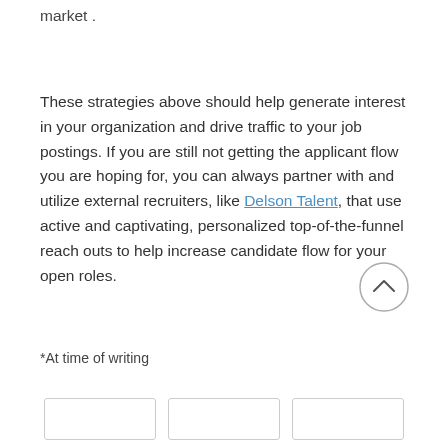market .
These strategies above should help generate interest in your organization and drive traffic to your job postings. If you are still not getting the applicant flow you are hoping for, you can always partner with and utilize external recruiters, like Delson Talent, that use active and captivating, personalized top-of-the-funnel reach outs to help increase candidate flow for your open roles.
*At time of writing